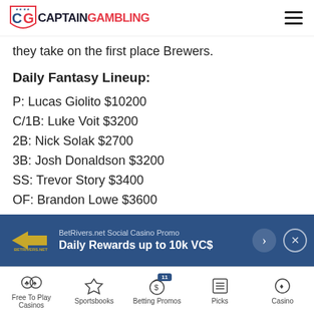CaptainGambling
they take on the first place Brewers.
Daily Fantasy Lineup:
P: Lucas Giolito $10200
C/1B: Luke Voit $3200
2B: Nick Solak $2700
3B: Josh Donaldson $3200
SS: Trevor Story $3400
OF: Brandon Lowe $3600
[Figure (other): BetRivers.net Social Casino Promo advertisement banner. Text: BetRivers.net Social Casino Promo. Daily Rewards up to 10k VC$]
Free To Play Casinos | Sportsbooks | Betting Promos (11) | Picks | Casino